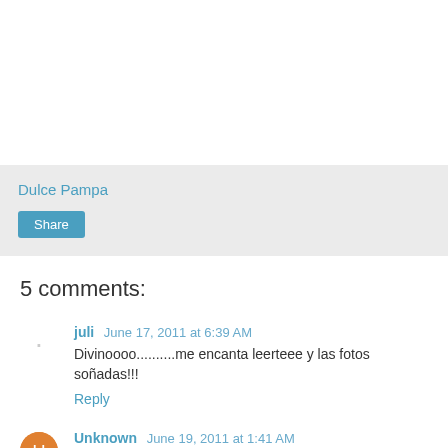Dulce Pampa
Share
5 comments:
juli  June 17, 2011 at 6:39 AM
Divinoooo..........me encanta leerteee y las fotos soñadas!!!
Reply
Unknown  June 19, 2011 at 1:41 AM